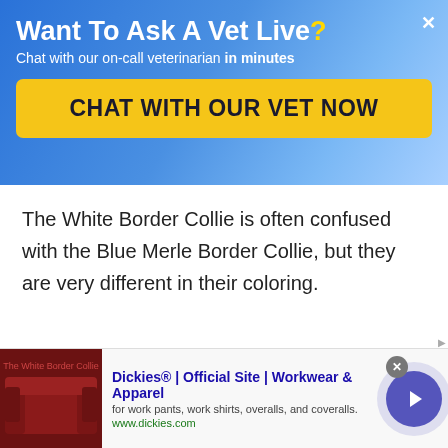Want To Ask A Vet Live?
Chat with our on-call veterinarian in minutes
CHAT WITH OUR VET NOW
The White Border Collie is often confused with the Blue Merle Border Collie, but they are very different in their coloring.
Click Here to Talk To Our VET LIVE
Dickies® | Official Site | Workwear & Apparel
for work pants, work shirts, overalls, and coveralls.
www.dickies.com